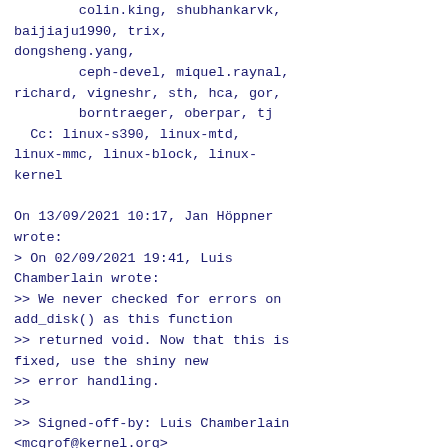colin.king, shubhankarvk,
baijiaju1990, trix,
dongsheng.yang,
        ceph-devel, miquel.raynal,
richard, vigneshr, sth, hca, gor,
        borntraeger, oberpar, tj
  Cc: linux-s390, linux-mtd,
linux-mmc, linux-block, linux-kernel

On 13/09/2021 10:17, Jan Höppner wrote:
> On 02/09/2021 19:41, Luis Chamberlain wrote:
>> We never checked for errors on add_disk() as this function
>> returned void. Now that this is fixed, use the shiny new
>> error handling.
>>
>> Signed-off-by: Luis Chamberlain <mcgrof@kernel.org>
>> ---
>>
drivers/s390/block/dasd_genhd.c | 8 ++++++--
>>  1 file changed, 6 insertions(+), 2 deletions(-)
>>
>> diff --git